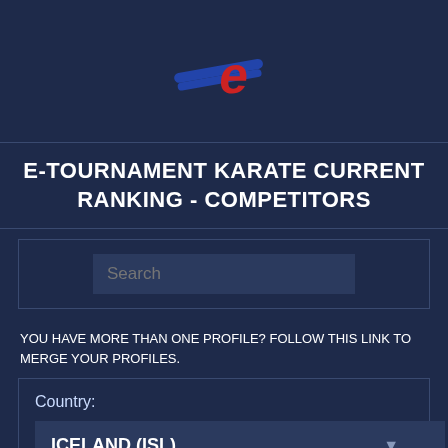[Figure (logo): E-Tournament logo: stylized 'e' letter in red with blue diagonal speed lines]
E-TOURNAMENT KARATE CURRENT RANKING - COMPETITORS
Search
YOU HAVE MORE THAN ONE PROFILE? FOLLOW THIS LINK TO MERGE YOUR PROFILES.
Country: ICELAND (ISL)
[Figure (illustration): Flag of Iceland: blue background with red and white cross]